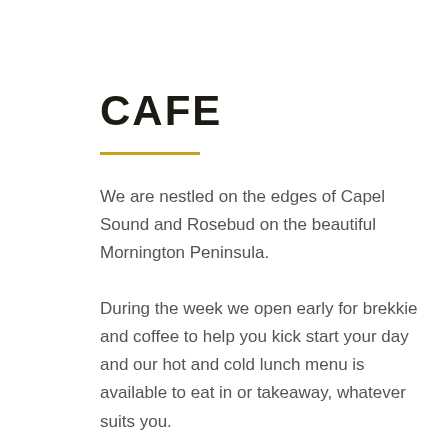CAFE
We are nestled on the edges of Capel Sound and Rosebud on the beautiful Mornington Peninsula.
During the week we open early for brekkie and coffee to help you kick start your day and our hot and cold lunch menu is available to eat in or takeaway, whatever suits you.
If you're meeting a friend for a catch up